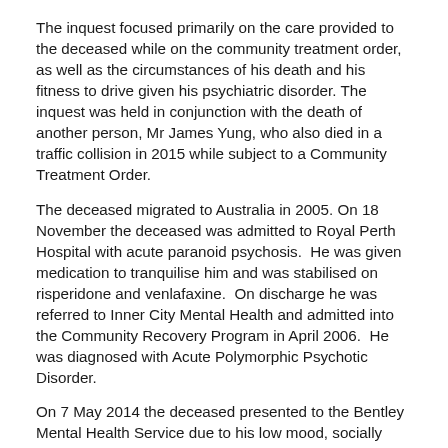The inquest focused primarily on the care provided to the deceased while on the community treatment order, as well as the circumstances of his death and his fitness to drive given his psychiatric disorder. The inquest was held in conjunction with the death of another person, Mr James Yung, who also died in a traffic collision in 2015 while subject to a Community Treatment Order.
The deceased migrated to Australia in 2005. On 18 November the deceased was admitted to Royal Perth Hospital with acute paranoid psychosis.  He was given medication to tranquilise him and was stabilised on risperidone and venlafaxine.  On discharge he was referred to Inner City Mental Health and admitted into the Community Recovery Program in April 2006.  He was diagnosed with Acute Polymorphic Psychotic Disorder.
On 7 May 2014 the deceased presented to the Bentley Mental Health Service due to his low mood, socially withdrawn behaviour and non-compliance with his medication. The deceased was placed on antidepressant and antipsychotic medication.  On 13 July 2014 the deceased was taken to Royal Perth Hospital and admitted to a locked ward after he made attempts to harm himself.  The deceased was transferred to Bentley Hospital on 20